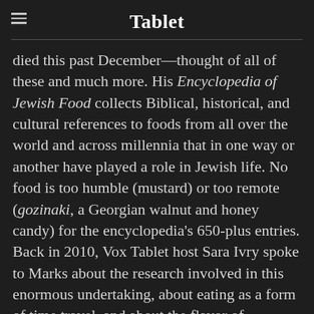Tablet
died this past December—thought of all of these and much more. His Encyclopedia of Jewish Food collects Biblical, historical, and cultural references to foods from all over the world and across millennia that in one way or another have played a role in Jewish life. No food is too humble (mustard) or too remote (gozinaki, a Georgian walnut and honey candy) for the encyclopedia's 650-plus entries. Back in 2010, Vox Tablet host Sara Ivry spoke to Marks about the research involved in this enormous undertaking, about eating as a form of time travel, and about the flavor of grasshoppers.